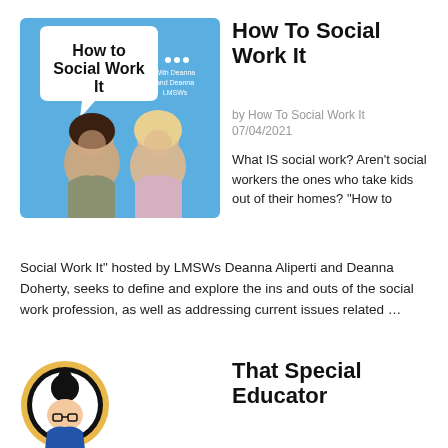[Figure (illustration): Podcast cover art for 'How to Social Work It' showing two women posing with a speech bubble logo on a blue background]
How To Social Work It
by How To Social Work It
07/04/2021
What IS social work? Aren't social workers the ones who take kids out of their homes? "How to Social Work It" hosted by LMSWs Deanna Aliperti and Deanna Doherty, seeks to define and explore the ins and outs of the social work profession, as well as addressing current issues related …
[Figure (illustration): Podcast cover art for 'That Special Educator' showing a cartoon illustration of a woman with glasses and hair in a bun, inside a circular frame with gold/black border]
That Special Educator